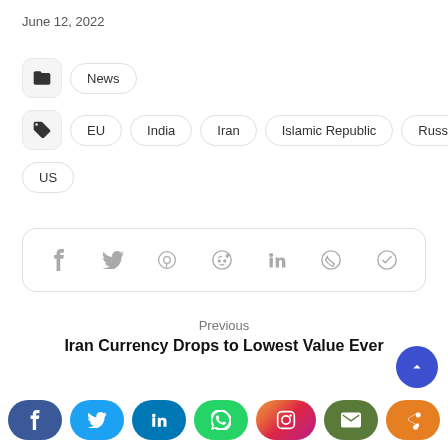June 12, 2022
News
EU | India | Iran | Islamic Republic | Russia
US
[Figure (other): Social share bar with Facebook, Twitter, Pinterest, Reddit, LinkedIn, WhatsApp, Telegram icons]
Previous
Iran Currency Drops to Lowest Value Ever
[Figure (other): Bottom social share bar with Facebook, Twitter, LinkedIn, WhatsApp, Instagram, Email, Share buttons and back-to-top button]